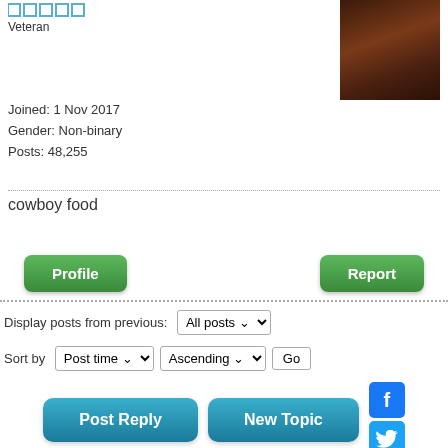[Figure (photo): Forum rank icons (5 small blue squares) and avatar photo of a person with long red hair in dark lighting]
Veteran
Joined: 1 Nov 2017
Gender: Non-binary
Posts: 48,255
cowboy food
Profile
Report
Display posts from previous: All posts
Sort by  Post time  Ascending  Go
Post Reply
New Topic
Page 973 of 1032 [ 16503 posts ]  Go to page Previous  1 ... 970, 971, 972, 973, 974, 975, 976 ... 1032  Next